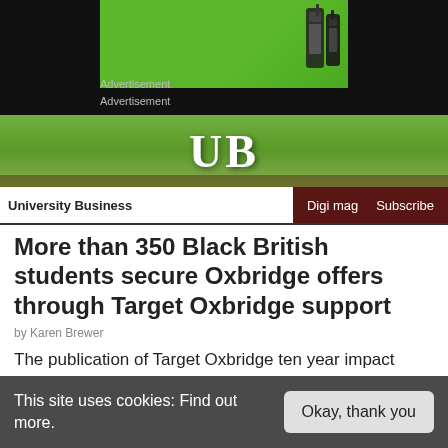[Figure (screenshot): Advertisement banner with green background and walkie-talkie radios]
Advertisement
Advertisement
[Figure (logo): University Business header banner with 'UB' text over green grass background]
University Business
More than 350 Black British students secure Oxbridge offers through Target Oxbridge support
by Karen Brewer
The publication of Target Oxbridge ten year impact report demonstrates the success of the programme...
This site uses cookies: Find out more.